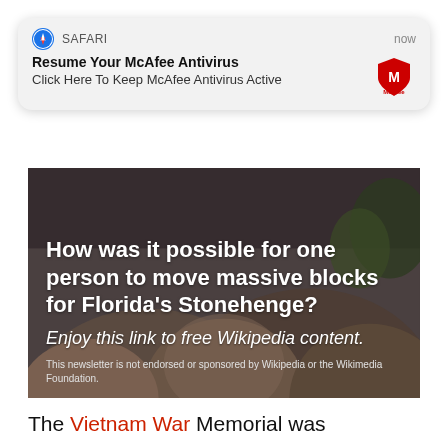[Figure (screenshot): iOS Safari browser notification banner: 'Resume Your McAfee Antivirus / Click Here To Keep McAfee Antivirus Active' with McAfee logo icon]
[Figure (photo): Article card image showing large rock formations with white text overlay: 'How was it possible for one person to move massive blocks for Florida's Stonehenge?' and italic text 'Enjoy this link to free Wikipedia content.' with disclaimer at bottom.]
The Vietnam War Memorial was dedicated NOVEMBER 13, 1982, honoring 58,000 American troops who died. U.S. forces inflicted over a million enemy fatalities, yet involvement by politicians thwarted victory. North Vietnamese colonel, Bui Tin, received the unconditional surrender of South